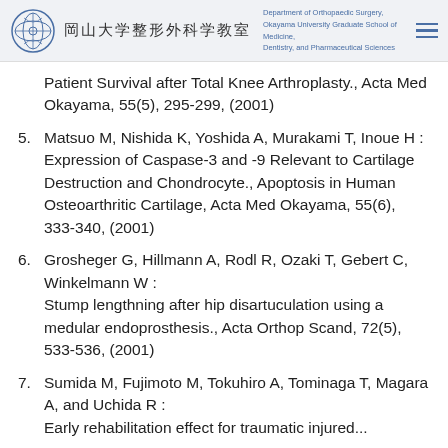岡山大学整形外科学教室 | Department of Orthopaedic Surgery, Okayama University Graduate School of Medicine, Dentistry, and Pharmaceutical Sciences
Patient Survival after Total Knee Arthroplasty., Acta Med Okayama, 55(5), 295-299, (2001)
5. Matsuo M, Nishida K, Yoshida A, Murakami T, Inoue H : Expression of Caspase-3 and -9 Relevant to Cartilage Destruction and Chondrocyte., Apoptosis in Human Osteoarthritic Cartilage, Acta Med Okayama, 55(6), 333-340, (2001)
6. Grosheger G, Hillmann A, Rodl R, Ozaki T, Gebert C, Winkelmann W : Stump lengthning after hip disartuculation using a medular endoprosthesis., Acta Orthop Scand, 72(5), 533-536, (2001)
7. Sumida M, Fujimoto M, Tokuhiro A, Tominaga T, Magara A, and Uchida R : Early rehabilitation effect for traumatic injured...